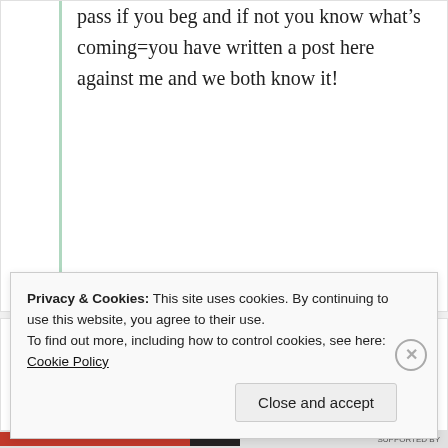pass if you beg and if not you know what's coming=you have written a post here against me and we both know it!
★ Like
The Wheelchair Teen
7th Jul 2021 at 11:48 am
Privacy & Cookies: This site uses cookies. By continuing to use this website, you agree to their use.
To find out more, including how to control cookies, see here: Cookie Policy
Close and accept